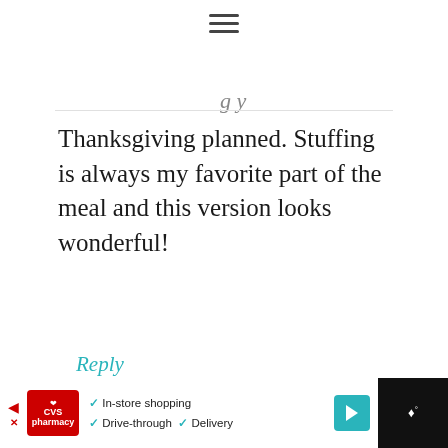[Figure (other): Hamburger menu icon (three horizontal lines) at top center]
g y
Thanksgiving planned. Stuffing is always my favorite part of the meal and this version looks wonderful!
Reply
Lynn+Lovejoy+@+Order+in+the+Kitchen says
November 3, 2014 at 12:38 pm
[Figure (other): WHAT'S NEXT panel with Southern Style Cornbread thumbnail]
[Figure (other): CVS pharmacy advertisement bar with In-store shopping, Drive-through, Delivery options]